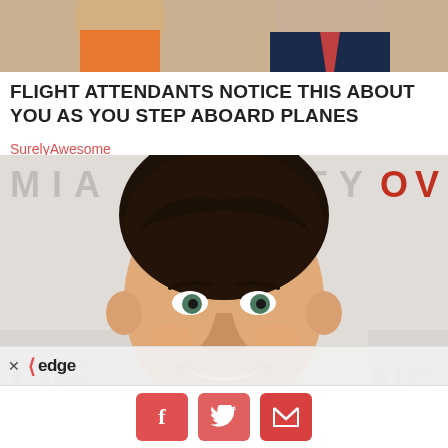[Figure (photo): Partial photo of two people at top of page, one wearing orange/red clothing]
FLIGHT ATTENDANTS NOTICE THIS ABOUT YOU AS YOU STEP ABOARD PLANES
SurelyAwesome
[Figure (photo): Photo of a smiling man in a dark suit with blue shirt, posing in front of a backdrop with text. An 'edge' ad bar overlay and social media sharing buttons (Facebook, Twitter, Email) are visible at the bottom.]